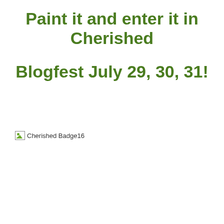Paint it and enter it in Cherished Blogfest July 29, 30, 31!
[Figure (other): Broken image placeholder with alt text 'Cherished Badge16']